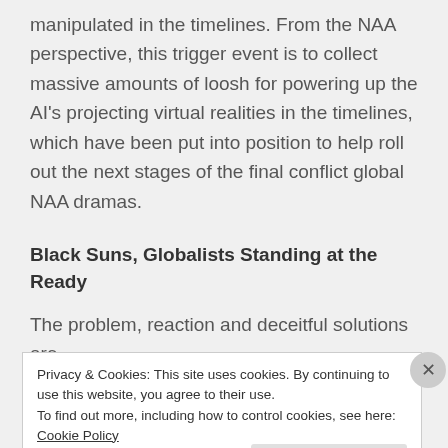manipulated in the timelines. From the NAA perspective, this trigger event is to collect massive amounts of loosh for powering up the AI's projecting virtual realities in the timelines, which have been put into position to help roll out the next stages of the final conflict global NAA dramas.
Black Suns, Globalists Standing at the Ready
The problem, reaction and deceitful solutions are
Privacy & Cookies: This site uses cookies. By continuing to use this website, you agree to their use.
To find out more, including how to control cookies, see here: Cookie Policy
Close and accept